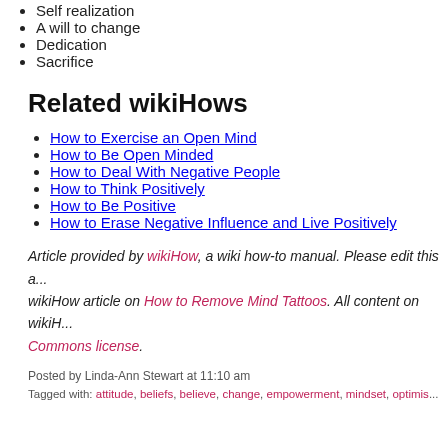Self realization
A will to change
Dedication
Sacrifice
Related wikiHows
How to Exercise an Open Mind
How to Be Open Minded
How to Deal With Negative People
How to Think Positively
How to Be Positive
How to Erase Negative Influence and Live Positively
Article provided by wikiHow, a wiki how-to manual. Please edit this article on wikiHow article on How to Remove Mind Tattoos. All content on wikiH... Commons license.
Posted by Linda-Ann Stewart at 11:10 am
Tagged with: attitude, beliefs, believe, change, empowerment, mindset, optimise...